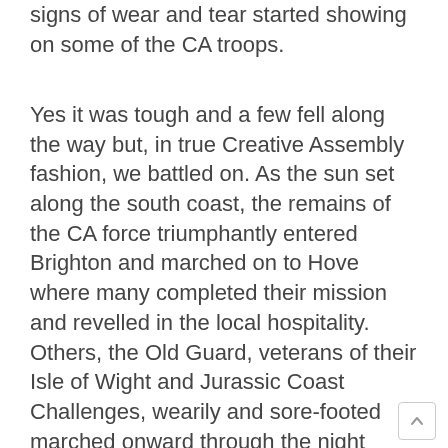signs of wear and tear started showing on some of the CA troops.
Yes it was tough and a few fell along the way but, in true Creative Assembly fashion, we battled on. As the sun set along the south coast, the remains of the CA force triumphantly entered Brighton and marched on to Hove where many completed their mission and revelled in the local hospitality. Others, the Old Guard, veterans of their Isle of Wight and Jurassic Coast Challenges, wearily and sore-footed marched onward through the night towards Arundel Castle. Another 45km.